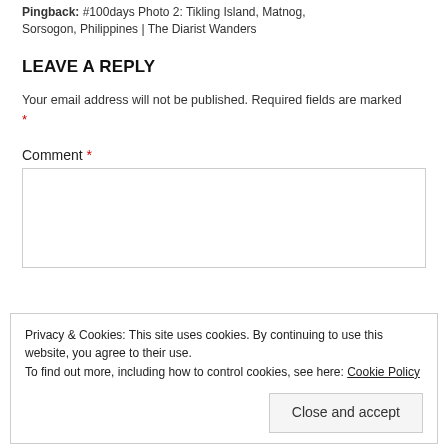Pingback: #100days Photo 2: Tikling Island, Matnog, Sorsogon, Philippines | The Diarist Wanders
LEAVE A REPLY
Your email address will not be published. Required fields are marked *
Comment *
Privacy & Cookies: This site uses cookies. By continuing to use this website, you agree to their use.
To find out more, including how to control cookies, see here: Cookie Policy
Close and accept